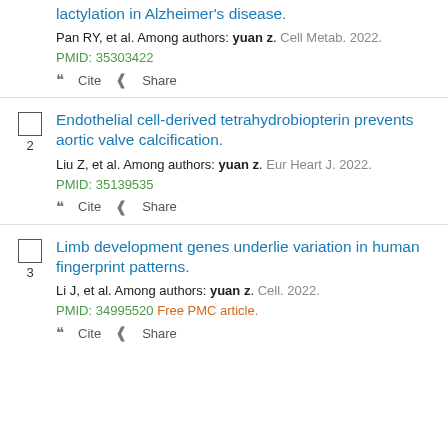lactylation in Alzheimer's disease.
Pan RY, et al. Among authors: yuan z. Cell Metab. 2022. PMID: 35303422
Cite  Share
Endothelial cell-derived tetrahydrobiopterin prevents aortic valve calcification.
Liu Z, et al. Among authors: yuan z. Eur Heart J. 2022. PMID: 35139535
Cite  Share
Limb development genes underlie variation in human fingerprint patterns.
Li J, et al. Among authors: yuan z. Cell. 2022. PMID: 34995520 Free PMC article.
Cite  Share